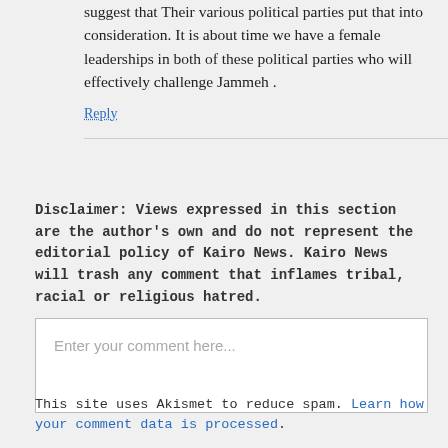suggest that Their various political parties put that into consideration. It is about time we have a female leaderships in both of these political parties who will effectively challenge Jammeh .
Reply
Disclaimer: Views expressed in this section are the author's own and do not represent the editorial policy of Kairo News. Kairo News will trash any comment that inflames tribal, racial or religious hatred.
Enter your comment here...
This site uses Akismet to reduce spam. Learn how your comment data is processed.